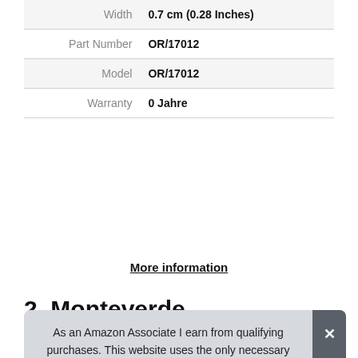| Width | 0.7 cm (0.28 Inches) |
| Part Number | OR/17012 |
| Model | OR/17012 |
| Warranty | 0 Jahre |
More information
2. Monteverde
As an Amazon Associate I earn from qualifying purchases. This website uses the only necessary cookies to ensure you get the best experience on our website. More information